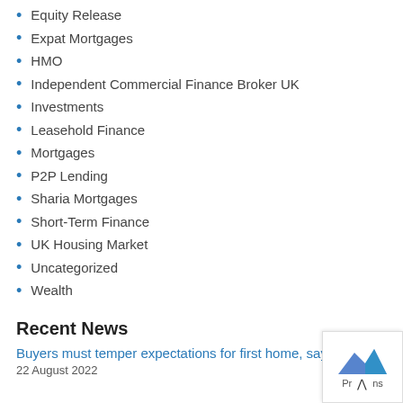Equity Release
Expat Mortgages
HMO
Independent Commercial Finance Broker UK
Investments
Leasehold Finance
Mortgages
P2P Lending
Sharia Mortgages
Short-Term Finance
UK Housing Market
Uncategorized
Wealth
Recent News
Buyers must temper expectations for first home, says YBS
22 August 2022